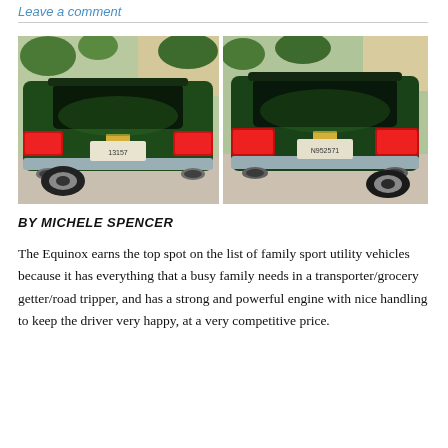Leave a comment
[Figure (photo): Two side-by-side photographs of the rear of a dark green Chevrolet Equinox SUV taken from slightly different angles, showing the rear taillights, license plate area, chrome bumper, and dual exhaust tips, parked on a driveway with trees and a building in the background.]
BY MICHELE SPENCER
The Equinox earns the top spot on the list of family sport utility vehicles because it has everything that a busy family needs in a transporter/grocery getter/road tripper, and has a strong and powerful engine with nice handling to keep the driver very happy, at a very competitive price.